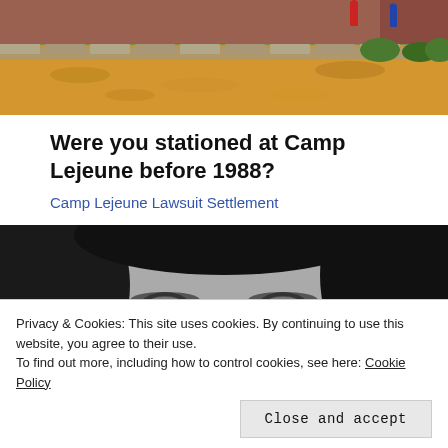[Figure (photo): Outdoor photo showing fallen autumn leaves on ground with stone border and brick wall with people in background]
Were you stationed at Camp Lejeune before 1988?
Camp Lejeune Lawsuit Settlement
[Figure (photo): Black and white close-up photo of a person wearing round glasses, eyes looking forward]
Privacy & Cookies: This site uses cookies. By continuing to use this website, you agree to their use.
To find out more, including how to control cookies, see here: Cookie Policy
Close and accept